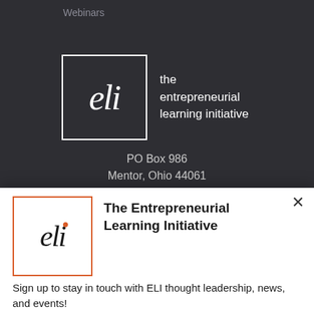Webinars
[Figure (logo): ELI (the entrepreneurial learning initiative) logo on dark background - white box with 'eli' text in italic serif, beside tagline 'the entrepreneurial learning initiative']
PO Box 986
Mentor, Ohio 44061
[Figure (logo): ELI logo on white background - orange-bordered box with 'eli' in italic serif with orange dot, beside bold title text]
The Entrepreneurial Learning Initiative
Sign up to stay in touch with ELI thought leadership, news, and events!
SUBSCRIBE